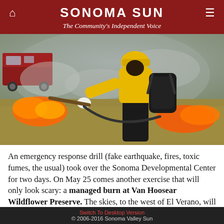SONOMA SUN
The Community's Independent Voice
[Figure (photo): Firefighter in yellow jacket and black backpack holding a tool near active flames during a managed burn, with a red fire truck visible in the background and smoke in the air.]
An emergency response drill (fake earthquake, fires, toxic fumes, the usual) took over the Sonoma Developmental Center for two days. On May 25 comes another exercise that will only look scary: a managed burn at Van Hoosear Wildflower Preserve. The skies, to the west of El Verano, will fill with smoke, but
Switch To Desktop Version
© 2006-2016 Sonoma Valley Sun